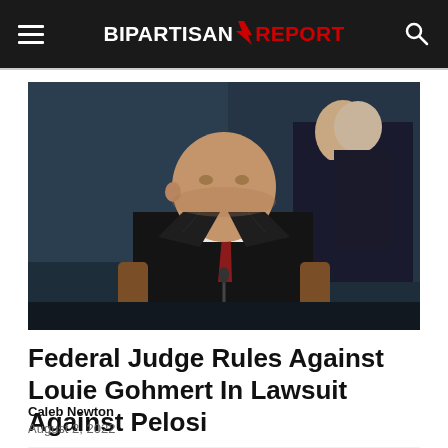BIPARTISAN REPORT
[Figure (photo): A bald older man in a dark suit with a red tie sits in a chair speaking, with another man in a dark suit visible behind him, in what appears to be a congressional hearing or formal government setting.]
Federal Judge Rules Against Louie Gohmert In Lawsuit Against Pelosi
Caleb Newton
August 2, 2022